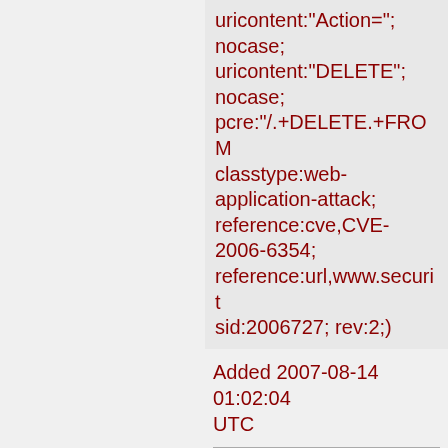uricontent:"Action="; nocase; uricontent:"DELETE"; nocase; pcre:"/.+DELETE.+FROM classtype:web-application-attack; reference:cve,CVE-2006-6354; reference:url,www.securit sid:2006727; rev:2;)
Added 2007-08-14 01:02:04 UTC
alert tcp $EXTERNAL_NET any -> $HTTP_SERVERS $HTTP_PORTS